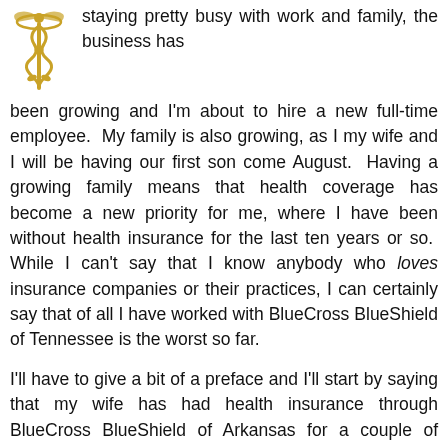[Figure (illustration): Gold caduceus medical symbol (staff with two snakes and wings) in the upper left corner]
staying pretty busy with work and family, the business has been growing and I'm about to hire a new full-time employee. My family is also growing, as I my wife and I will be having our first son come August. Having a growing family means that health coverage has become a new priority for me, where I have been without health insurance for the last ten years or so. While I can't say that I know anybody who loves insurance companies or their practices, I can certainly say that of all I have worked with BlueCross BlueShield of Tennessee is the worst so far.

I'll have to give a bit of a preface and I'll start by saying that my wife has had health insurance through BlueCross BlueShield of Arkansas for a couple of years.